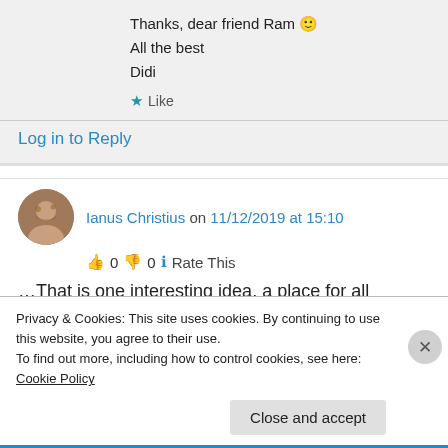Thanks, dear friend Ram 🙂
All the best
Didi
★ Like
Log in to Reply
Ianus Christius on 11/12/2019 at 15:10
👍 0 👎 0 ℹ Rate This
…That is one interesting idea, a place for all
Privacy & Cookies: This site uses cookies. By continuing to use this website, you agree to their use.
To find out more, including how to control cookies, see here: Cookie Policy
Close and accept